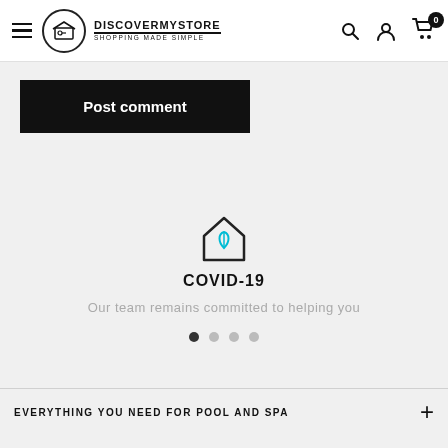DISCOVERMYSTORE — SHOPPING MADE SIMPLE
Post comment
[Figure (illustration): House/home icon with a leaf symbol inside, outlined in dark with a teal/cyan leaf, representing an eco or stay-at-home concept]
COVID-19
Our team remains committed to helping you
EVERYTHING YOU NEED FOR POOL AND SPA